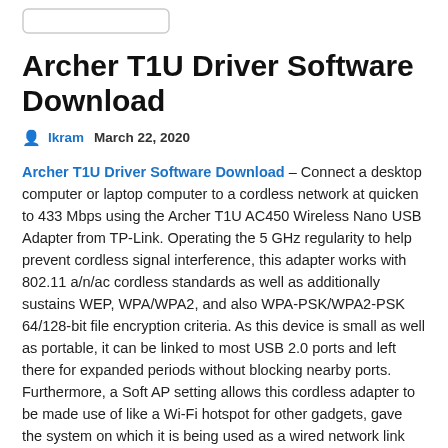[Figure (other): Search box UI element (rounded rectangle input field)]
Archer T1U Driver Software Download
Ikram   March 22, 2020
Archer T1U Driver Software Download – Connect a desktop computer or laptop computer to a cordless network at quicken to 433 Mbps using the Archer T1U AC450 Wireless Nano USB Adapter from TP-Link. Operating the 5 GHz regularity to help prevent cordless signal interference, this adapter works with 802.11 a/n/ac cordless standards as well as additionally sustains WEP, WPA/WPA2, and also WPA-PSK/WPA2-PSK 64/128-bit file encryption criteria. As this device is small as well as portable, it can be linked to most USB 2.0 ports and left there for expanded periods without blocking nearby ports. Furthermore, a Soft AP setting allows this cordless adapter to be made use of like a Wi-Fi hotspot for other gadgets, gave the system on which it is being used as a wired network link TP Web link's Archer